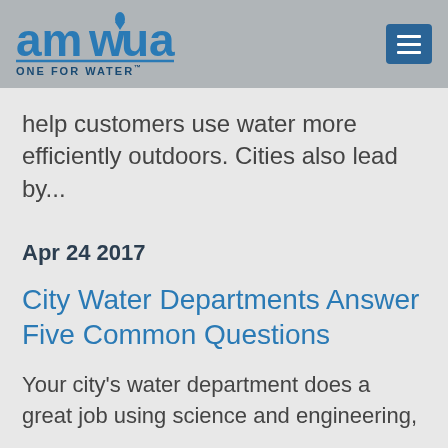[Figure (logo): AMWUA logo with text 'ONE FOR WATER' and a hamburger menu button]
help customers use water more efficiently outdoors. Cities also lead by...
Apr 24 2017
City Water Departments Answer Five Common Questions
Your city's water department does a great job using science and engineering,